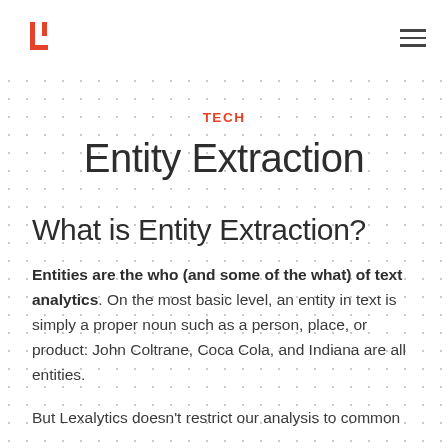Lexalytics logo and navigation
TECH
Entity Extraction
What is Entity Extraction?
Entities are the who (and some of the what) of text analytics. On the most basic level, an entity in text is simply a proper noun such as a person, place, or product: John Coltrane, Coca Cola, and Indiana are all entities.
But Lexalytics doesn't restrict our analysis to common